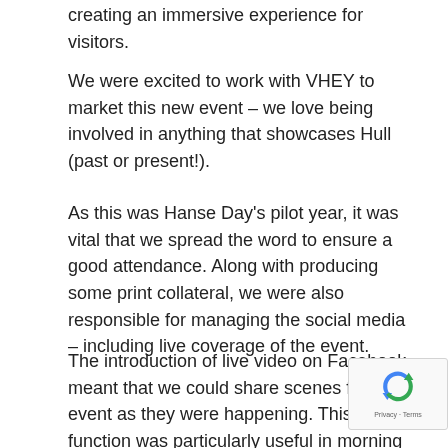creating an immersive experience for visitors.
We were excited to work with VHEY to market this new event – we love being involved in anything that showcases Hull (past or present!).
As this was Hanse Day's pilot year, it was vital that we spread the word to ensure a good attendance. Along with producing some print collateral, we were also responsible for managing the social media – including live coverage of the event.
The introduction of live video on Facebook meant that we could share scenes from the event as they were happening. This function was particularly useful in morning of the event, to give people an idea of wha expect, and hopefully encourage them to visit later in